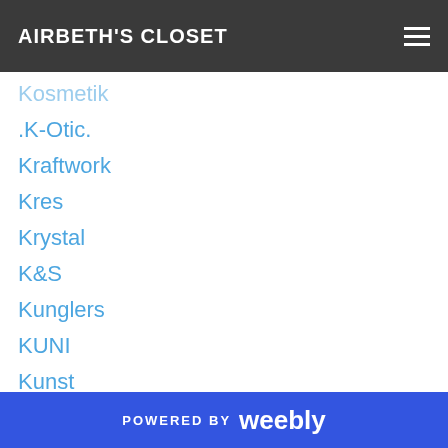AIRBETH'S CLOSET
Kosmetik
.K-Otic.
Kraftwork
Kres
Krystal
K&S
Kunglers
KUNI
Kunst
Kuso
Kustom9
L2 Studio
La Baguette
Label Motion
La boheme
POWERED BY weebly